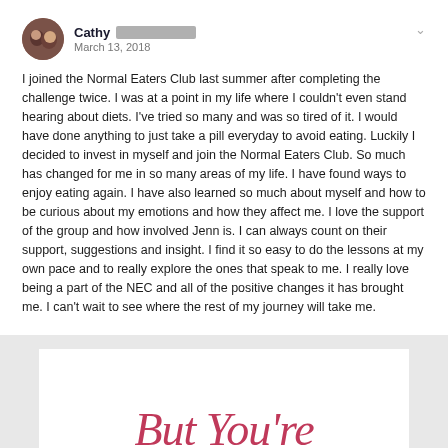[Figure (photo): Profile avatar photo showing two people]
Cathy [redacted] March 13, 2018
I joined the Normal Eaters Club last summer after completing the challenge twice. I was at a point in my life where I couldn't even stand hearing about diets. I've tried so many and was so tired of it. I would have done anything to just take a pill everyday to avoid eating. Luckily I decided to invest in myself and join the Normal Eaters Club. So much has changed for me in so many areas of my life. I have found ways to enjoy eating again. I have also learned so much about myself and how to be curious about my emotions and how they affect me. I love the support of the group and how involved Jenn is. I can always count on their support, suggestions and insight. I find it so easy to do the lessons at my own pace and to really explore the ones that speak to me. I really love being a part of the NEC and all of the positive changes it has brought me. I can't wait to see where the rest of my journey will take me.
But You're